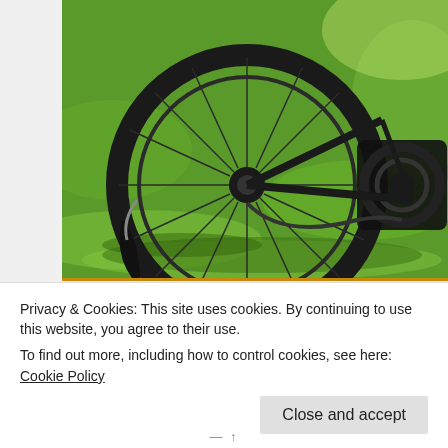[Figure (photo): Close-up photo of a black road bicycle rear wheel with spokes and derailleur, resting on green grass in sunlight]
HOME » 2017 » APRIL (PAGE 2)
Monthly Archives: April 2
Privacy & Cookies: This site uses cookies. By continuing to use this website, you agree to their use.
To find out more, including how to control cookies, see here: Cookie Policy
Close and accept